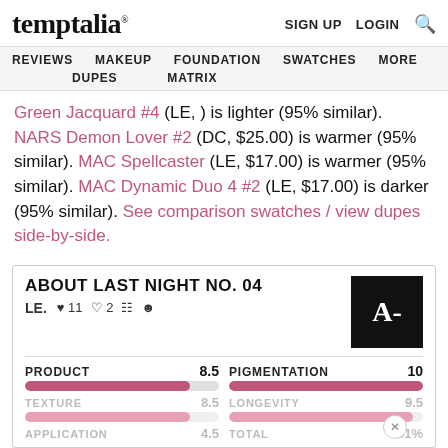temptalia® | SIGN UP | LOGIN | Search
REVIEWS MAKEUP FOUNDATION SWATCHES MORE DUPES MATRIX
Green Jacquard #4 (LE, ) is lighter (95% similar). NARS Demon Lover #2 (DC, $25.00) is warmer (95% similar). MAC Spellcaster (LE, $17.00) is warmer (95% similar). MAC Dynamic Duo 4 #2 (LE, $17.00) is darker (95% similar). See comparison swatches / view dupes side-by-side.
ABOUT LAST NIGHT NO. 04
LE. ♥ 11 ♥ 2 A-
| PRODUCT | 8.5 | PIGMENTATION | 10 |
| --- | --- | --- | --- |
| TEXTURE | 8.5 | LONGEVITY | 9.5 |
| APPLICATION | 4.5 | TOTAL | 91% |